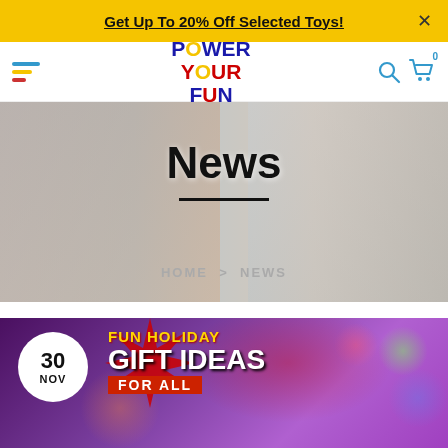Get Up To 20% Off Selected Toys!
[Figure (logo): Power Your Fun logo — colorful text logo with blue, yellow, and red]
[Figure (photo): Two boys playing with a toy robot, hero banner image with 'News' heading and HOME > NEWS breadcrumb]
News
HOME > NEWS
[Figure (photo): Fun Holiday Gift Ideas For All — promotional article card with purple bokeh background, date circle showing 30 NOV, dinosaur toy and colorful balls]
30
NOV
FUN HOLIDAY
GIFT IDEAS
FOR ALL